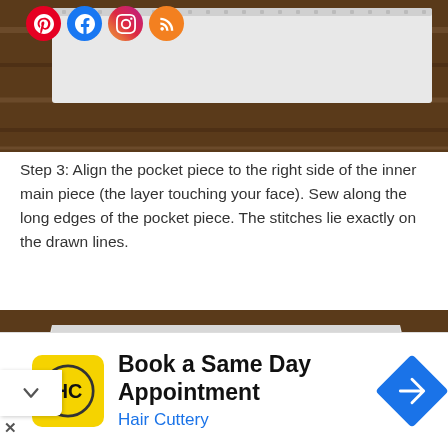[Figure (photo): Top portion: photo of a white fabric piece on a dark wood surface, with social media icons (Pinterest, Facebook, Instagram, RSS) overlaid in the top-left corner]
Step 3: Align the pocket piece to the right side of the inner main piece (the layer touching your face). Sew along the long edges of the pocket piece. The stitches lie exactly on the drawn lines.
[Figure (photo): Photo of a white fabric/paper piece laid flat on a dark wood surface, showing a sewing step]
[Figure (infographic): Advertisement bar: Hair Cuttery logo (HC in yellow circle), text 'Book a Same Day Appointment' and 'Hair Cuttery', blue navigation arrow icon on the right]